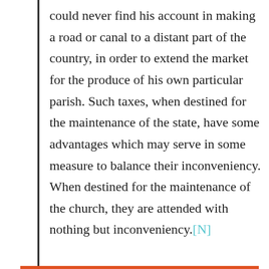could never find his account in making a road or canal to a distant part of the country, in order to extend the market for the produce of his own particular parish. Such taxes, when destined for the maintenance of the state, have some advantages which may serve in some measure to balance their inconveniency. When destined for the maintenance of the church, they are attended with nothing but inconveniency.[N]
Privacy & Cookies: This site uses cookies. By continuing to use this website, you agree to their use.
To find out more, including how to control cookies, see here: Cookie Policy